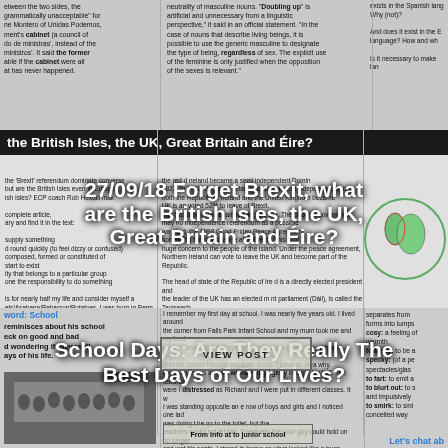between the two sides, the grammatically unacceptable for ne Montero of Unidas Podemos, ment's cabinet (a council of do de ministras', instead of the ministers'. It said the former able if the cabinet were all at has never happened.
neutrality of masculine nouns. 'Doubling up' is artificial and unnecessary from a linguistic perspective, it said in an official statement. 'In the case of nouns that describe living beings, it is possible to use the generic masculine to designate the type of being, regardless of sex. The explicit use of the feminine is only justified when the opposition of the sexes is relevant.'
And does it exist in the B language? How and wh Is it necessary to make lan
the British Isles, the UK, Great Britain and Éire?
27/09/18 Forget Brexit, what are the British Isles, the UK, Great Britain and Éire?
the 'Brexit' referendum dominate converse but are the British Isles even in Europe? ish Isles? ECP coach Rob Hextall mak complete article, ary and find it in the text: supply something d round quickly (to feel dizzy or confused) composed, formed or constituted of start to exist ity that belongs to a particular group one the responsibility to do something
s for nearly half my life and consider myself a els/Asabana/Babacron/Potatoes. I was born in Penn, st Midlands of England. I'm English and British but my to called the United Kingdom. England is in Great the United Kingdom, but not all the constituent parts of in the European Union and has been for the last 45 earing the EU next year. Aargh! My head is spinning! ht, in a single and clear manner, all this meas: up of islands of the coast of north west Europe. They land, the Isle of Man, the Hebrides, the Orkney Islands
the red d neland became a semi independent Domin 1921. In 1922, the red d neland became a semi independent Domin both the Republic of Ireland and the United Kingdom became UK is an voted 52% to leave of Brexit. and Scotland voted again leaving the EU. The Scottish government may no Independence referendum as a possible way to d. the 1998 Good Friday Peace Agreement something that will change after Brexit. This is of huge concern to the people of the island. Under the peace agreement, Northern Ireland can vote to leave the UK and become part of the Republic.
The head of state of the Republic of Ire d is a directly elected president and the leader of the UK has an elected m nt parliament (Dáil), is called the Taoiseach (Cha UK has an elected m ase such as head of state who charges the leader of the lar st party in parliament to form, and lead, a government. Is everything clear now? Don't hesitate to ask your ECP coach for more details!
Written by ECP coach Rob Hextall
Watch the video here :)
word: School
reminisces about his school eck on good and bad d wondering if they reall ays of his life.
School Days: Are They Really The Best Days of Our Lives?
I remember my first day at school. I was nearly five years old. I lived around the corner from Falls Park Infant School and my mum took me and my best friend Richard to the 'Boys' Entrance'. Back in the day, girls and boys entered school through separate doors. I have no idea why. My mum left us and we wandered gingerly into the big hall. The teachers were I distressed as Richard and I were put in different classes. It w I was standing opposite an e row of boys and girls and I noticed one lad was doing t he go to the toilet, but the teachers would not let him. Eventually the poor guy could hold on no longer and wet his pants. I stared in horror as what looked like a huge yellow lake moved towards me. That's when I fainted.
separates from forms into lumps cosy: a feeling of warmth to fancy: to be a specky: (of a pe spectacles/glas to fart: to emit a to blurt out: to s and impulsively to smirk: to smi conceited way
Let's chat ab
From info at to junior school